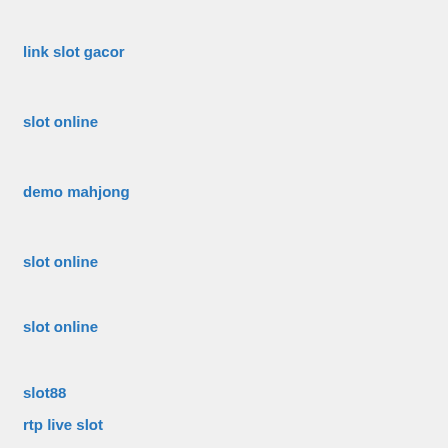link slot gacor
slot online
demo mahjong
slot online
slot online
slot88
rtp live slot